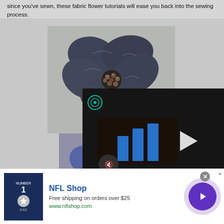since you've sewn, these fabric flower tutorials will ease you back into the sewing process.
[Figure (photo): Close-up photo of a handmade denim fabric flower with dark blue/gray petals sewn with visible stitching, and bronze/copper bead cluster at the center. A video player overlay appears in the bottom-right portion showing a dark video frame with blue play button graphics and a mute button. A second image partially visible below shows a blue fabric flower.]
[Figure (infographic): Advertisement banner for NFL Shop showing a Dallas Cowboys #1 Dad t-shirt, text 'NFL Shop', 'Free shipping on orders over $25', 'www.nflshop.com', and a purple circular arrow button.]